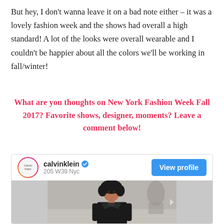But hey, I don't wanna leave it on a bad note either – it was a lovely fashion week and the shows had overall a high standard! A lot of the looks were overall wearable and I couldn't be happier about all the colors we'll be working in fall/winter!
What are you thoughts on New York Fashion Week Fall 2017? Favorite shows, designer, moments? Leave a comment below!
[Figure (screenshot): Instagram embed card for calvinklein account showing profile header with avatar, username with verified badge, location '205 W39 Nyc', 'View profile' button, and a fashion runway photo of a model with curly hair wearing a black leather jacket]